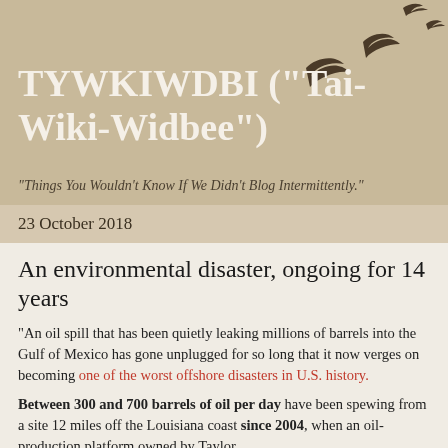TYWKIWDBI ("Tai-Wiki-Widbee")
"Things You Wouldn't Know If We Didn't Blog Intermittently."
23 October 2018
An environmental disaster, ongoing for 14 years
"An oil spill that has been quietly leaking millions of barrels into the Gulf of Mexico has gone unplugged for so long that it now verges on becoming one of the worst offshore disasters in U.S. history.
Between 300 and 700 barrels of oil per day have been spewing from a site 12 miles off the Louisiana coast since 2004, when an oil-production platform owned by Taylor